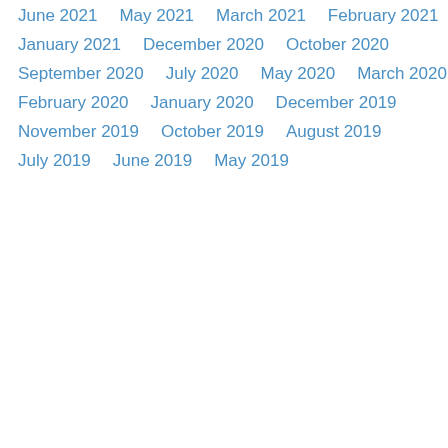June 2021
May 2021
March 2021
February 2021
January 2021
December 2020
October 2020
September 2020
July 2020
May 2020
March 2020
February 2020
January 2020
December 2019
November 2019
October 2019
August 2019
July 2019
June 2019
May 2019